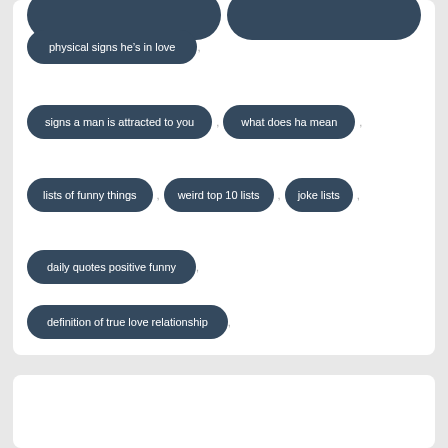[Figure (infographic): A series of dark navy rounded pill/tag shapes containing search query text on a white card background. Tags include: (partial top row), 'physical signs he's in love', 'signs a man is attracted to you', 'what does ha mean', 'lists of funny things', 'weird top 10 lists', 'joke lists', 'daily quotes positive funny', 'definition of true love relationship'. Below is a second white card (mostly empty).]
physical signs he's in love
signs a man is attracted to you
what does ha mean
lists of funny things
weird top 10 lists
joke lists
daily quotes positive funny
definition of true love relationship